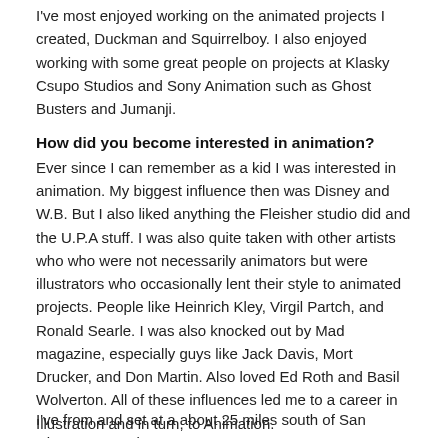I've most enjoyed working on the animated projects I created, Duckman and Squirrelboy. I also enjoyed working with some great people on projects at Klasky Csupo Studios and Sony Animation such as Ghost Busters and Jumanji.
How did you become interested in animation?
Ever since I can remember as a kid I was interested in animation. My biggest influence then was Disney and W.B. But I also liked anything the Fleisher studio did and the U.P.A stuff. I was also quite taken with other artists who who were not necessarily animators but were illustrators who occasionally lent their style to animated projects. People like Heinrich Kley, Virgil Partch, and Ronald Searle. I was also knocked out by Mad magazine, especially guys like Jack Davis, Mort Drucker, and Don Martin. Also loved Ed Roth and Basil Wolverton. All of these influences led me to a career in Illustration and in turn, to Animation.
Where are you from and how did you get into the animation business?
I've from and set at a about 25 miles south of San Diego. Or so I'd...